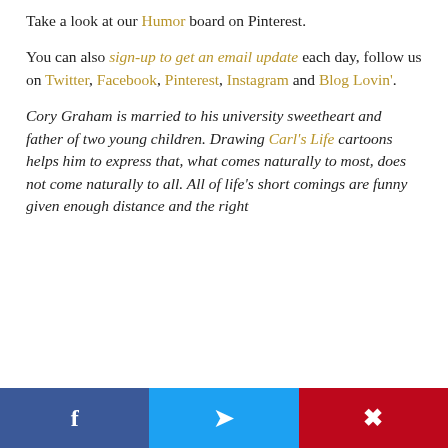Take a look at our Humor board on Pinterest.
You can also sign-up to get an email update each day, follow us on Twitter, Facebook, Pinterest, Instagram and Blog Lovin'.
Cory Graham is married to his university sweetheart and father of two young children. Drawing Carl's Life cartoons helps him to express that, what comes naturally to most, does not come naturally to all. All of life's short comings are funny given enough distance and the right